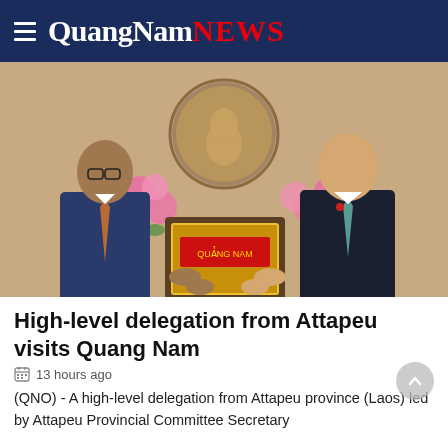Quang Nam NEWS
[Figure (photo): Two men in suits exchanging or holding a gift plaque together, with pink flowers and a golden bust of Ho Chi Minh in the background. The setting appears to be an official government reception room.]
High-level delegation from Attapeu visits Quang Nam
13 hours ago
(QNO) -  A high-level delegation from Attapeu province (Laos) led by Attapeu Provincial Committee Secretary